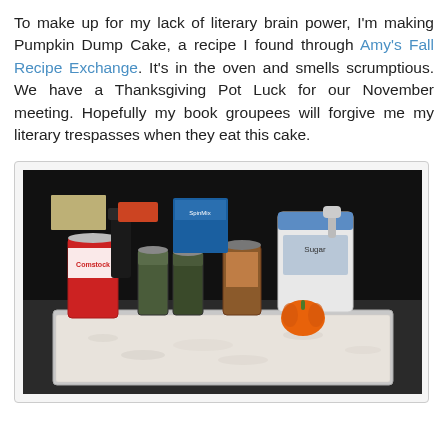To make up for my lack of literary brain power, I'm making Pumpkin Dump Cake, a recipe I found through Amy's Fall Recipe Exchange. It's in the oven and smells scrumptious. We have a Thanksgiving Pot Luck for our November meeting. Hopefully my book groupees will forgive me my literary trespasses when they eat this cake.
[Figure (photo): Kitchen counter photo showing baking ingredients including a can of Comstock pie filling, spice jars, a sugar container, and a baking pan filled with white cake mix ready to go in the oven, with a small decorative pumpkin visible.]